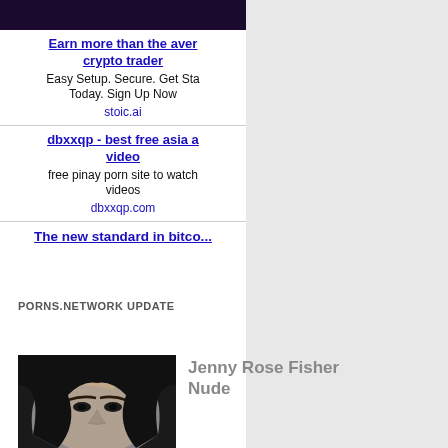[Figure (other): Dark purple/black banner image at top of left panel]
Earn more than the average crypto trader
Easy Setup. Secure. Get Started Today. Sign Up Now
stoic.ai
dbxxqp - best free asia adult video
free pinay porn site to watch videos
dbxxqp.com
The new standard in bitcoi...
PORNS.NETWORK UPDATE
[Figure (photo): Black and white close-up photo of a woman's face with hand on forehead]
Jenny Rose Fisher Nude